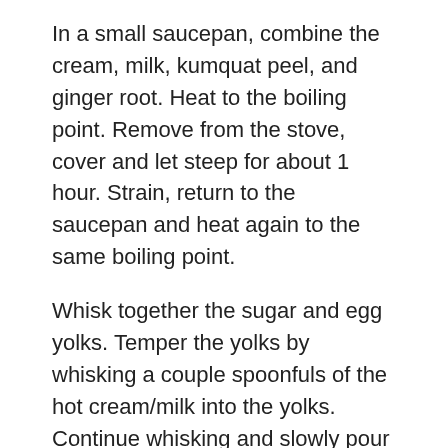In a small saucepan, combine the cream, milk, kumquat peel, and ginger root. Heat to the boiling point. Remove from the stove, cover and let steep for about 1 hour. Strain, return to the saucepan and heat again to the same boiling point.
Whisk together the sugar and egg yolks. Temper the yolks by whisking a couple spoonfuls of the hot cream/milk into the yolks. Continue whisking and slowly pour the rest of the milk into the tempered yolk mixture. Strain again into a bowl or large liquid measuring cup and then pour into the mold. Place the mold in a large roasting pan and pour hot water into the roasting pan so that it comes about halfway up the mold. Transfer carefully to the oven and bake for about 1 hour and 20 minutes or until firm around the edges and slightly wobbly in the center. Let cool and put in the freezer to firm up and